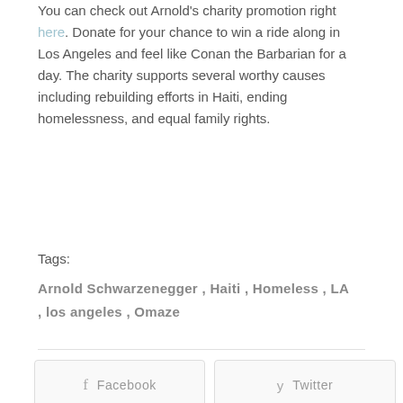You can check out Arnold's charity promotion right here. Donate for your chance to win a ride along in Los Angeles and feel like Conan the Barbarian for a day. The charity supports several worthy causes including rebuilding efforts in Haiti, ending homelessness, and equal family rights.
Tags:
Arnold Schwarzenegger , Haiti , Homeless , LA , los angeles , Omaze
[Figure (infographic): Social share buttons: Facebook, Twitter, Pinterest, and a share icon button. A share count showing 0 Shares is displayed to the right.]
[Figure (other): Author box at the bottom with a circular avatar image and the name 'Ty']